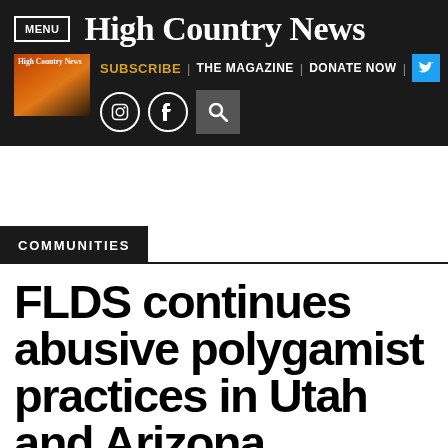High Country News
[Figure (screenshot): High Country News website header with navigation: MENU button, site logo, subscribe/magazine/donate links, social icons (Instagram, Facebook, Twitter), magazine cover thumbnail, and search icon]
COMMUNITIES
FLDS continues abusive polygamist practices in Utah and Arizona